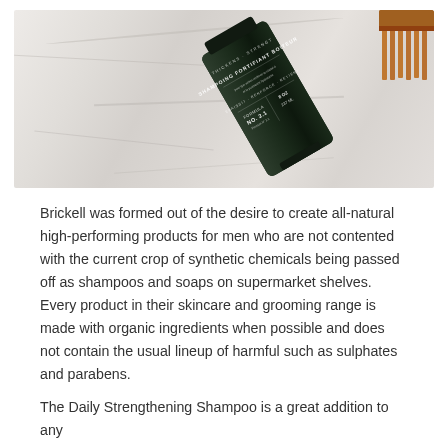[Figure (photo): A dark green shampoo bottle (Brickell Daily Strengthening Shampoo, Formula No. 2.1, 8oz/237ml) lying on a white marble surface, with a wooden comb visible in the upper right corner.]
Brickell was formed out of the desire to create all-natural high-performing products for men who are not contented with the current crop of synthetic chemicals being passed off as shampoos and soaps on supermarket shelves. Every product in their skincare and grooming range is made with organic ingredients when possible and does not contain the usual lineup of harmful such as sulphates and parabens.
The Daily Strengthening Shampoo is a great addition to any